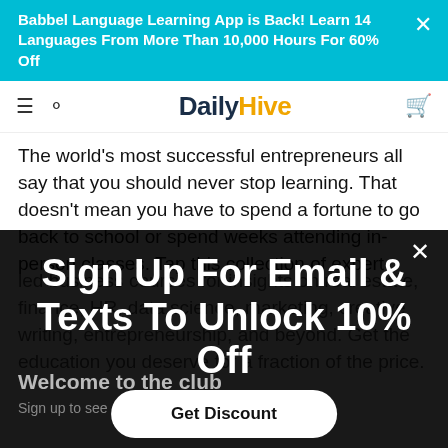Babbel Language Learning App is Back! Learn 14 Languages From More Than 10,000 Hours For 60% Off
Daily Hive
The world's most successful entrepreneurs all say that you should never stop learning. That doesn't mean you have to spend a fortune to go back to school or spend weeks attending in-person classes. Tap this collection of expert-led business courses for insights on real estate, finance, HR, data science, marketing, creative writing, entrepreneurship, and beyond. Get the education you deserve for a fraction of the price.
Sign Up For Email & Texts To Unlock 10% Off
Welcome to the club
Sign up to see our exclusive offers & get 10% Off
Get Discount